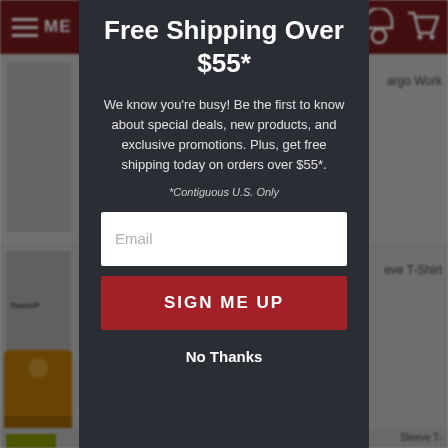MENU
[Figure (screenshot): Background product listing page with clothing items including Cargo Work shorts, T-Shirt, beanie hat, and high-visibility garment]
Free Shipping Over $55*
We know you're busy! Be the first to know about special deals, new products, and exclusive promotions. Plus, get free shipping today on orders over $55*.
*Contiguous U.S. Only
Email
SIGN ME UP
No Thanks